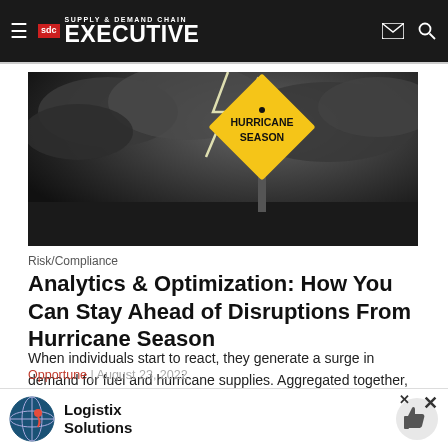Supply & Demand Chain Executive
[Figure (photo): Hurricane season warning sign (yellow diamond road sign reading HURRICANE SEASON) against a dramatic stormy sky with lightning bolts]
Risk/Compliance
Analytics & Optimization: How You Can Stay Ahead of Disruptions From Hurricane Season
When individuals start to react, they generate a surge in demand for fuel and hurricane supplies. Aggregated together, these activities create a spike in demand that's different than normal...
Opportune | August 23, 2022
[Figure (advertisement): Logistix Solutions advertisement banner with globe icon and thumbs-up icon]